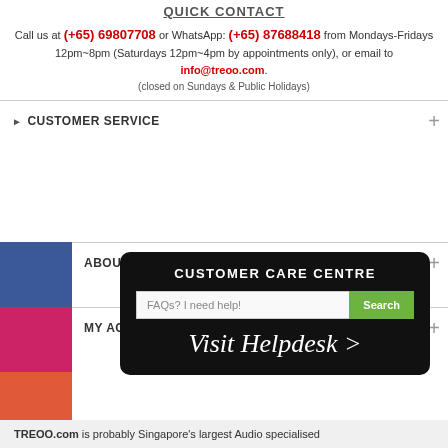QUICK CONTACT
Call us at (+65) 69807708 or WhatsApp: (+65) 87688418 from Mondays-Fridays 12pm~8pm (Saturdays 12pm~4pm by appointments only), or email to info@treoo.com.
(closed on Sundays & Public Holidays)
CUSTOMER SERVICE
ABOUT TREOO
MY ACCOUNT
[Figure (screenshot): Customer Care Centre black box with search bar and Visit Helpdesk link]
TREOO.com is probably Singapore's largest Audio specialised